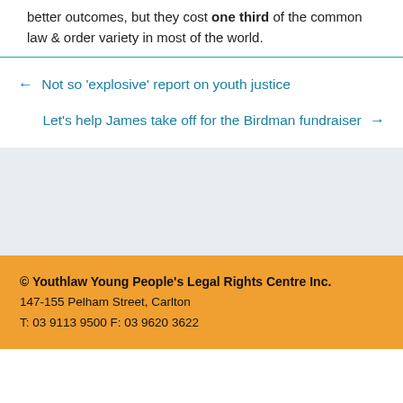better outcomes, but they cost one third of the common law & order variety in most of the world.
← Not so 'explosive' report on youth justice
Let's help James take off for the Birdman fundraiser →
© Youthlaw Young People's Legal Rights Centre Inc.
147-155 Pelham Street, Carlton
T: 03 9113 9500 F: 03 9620 3622